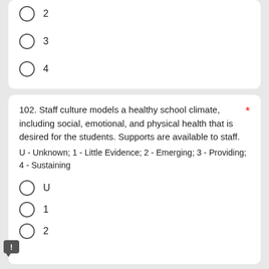2
3
4
102. Staff culture models a healthy school climate, including social, emotional, and physical health that is desired for the students. Supports are available to staff.
U - Unknown; 1 - Little Evidence; 2 - Emerging; 3 - Providing; 4 - Sustaining
U
1
2